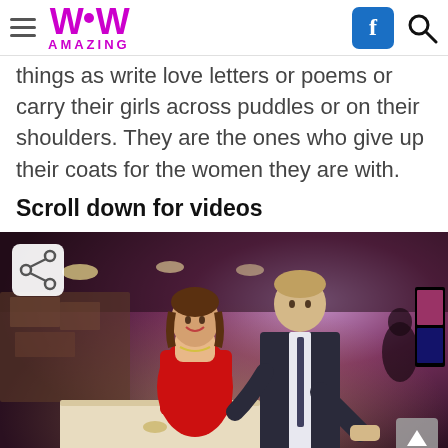WoW AMAZING
things as write love letters or poems or carry their girls across puddles or on their shoulders. They are the ones who give up their coats for the women they are with.
Scroll down for videos
[Figure (photo): A couple in a restaurant/event venue. A woman in a red strapless dress smiles while a man in a dark suit leans toward her, appearing to pull out her chair or offer something at a table.]